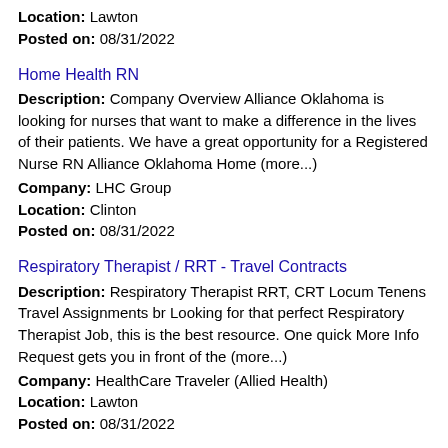Location: Lawton
Posted on: 08/31/2022
Home Health RN
Description: Company Overview Alliance Oklahoma is looking for nurses that want to make a difference in the lives of their patients. We have a great opportunity for a Registered Nurse RN Alliance Oklahoma Home (more...)
Company: LHC Group
Location: Clinton
Posted on: 08/31/2022
Respiratory Therapist / RRT - Travel Contracts
Description: Respiratory Therapist RRT, CRT Locum Tenens Travel Assignments br Looking for that perfect Respiratory Therapist Job, this is the best resource. One quick More Info Request gets you in front of the (more...)
Company: HealthCare Traveler (Allied Health)
Location: Lawton
Posted on: 08/31/2022
Salary in Wichita Falls, Texas Area | More details for Wichita Falls, Texas Jobs |Salary